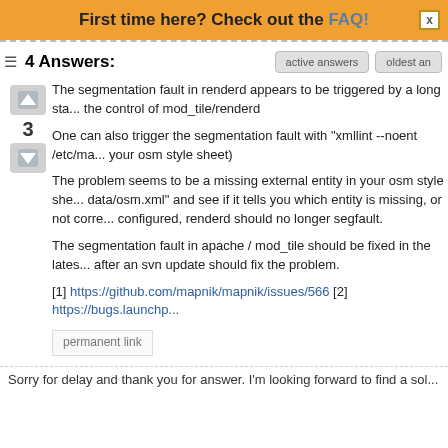First time here? Check out the FAQ!
4 Answers:
The segmentation fault in renderd appears to be triggered by a long sta... the control of mod_tile/renderd
One can also trigger the segmentation fault with "xmllint --noent /etc/ma... your osm style sheet)
The problem seems to be a missing external entity in your osm style sh... data/osm.xml" and see if it tells you which entity is missing, or not corre... configured, renderd should no longer segfault.
The segmentation fault in apache / mod_tile should be fixed in the lates... after an svn update should fix the problem.
[1] https://github.com/mapnik/mapnik/issues/566 [2] https://bugs.launchp...
permanent link
Sorry for delay and thank you for answer. I'm looking forward to find a sol...